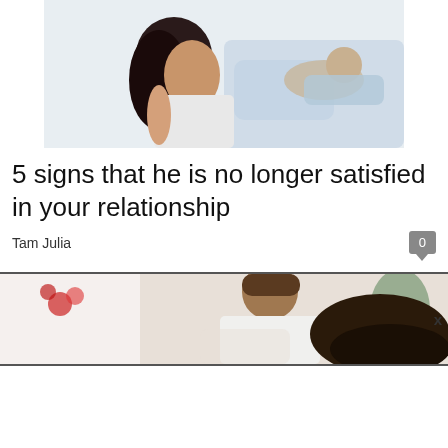[Figure (photo): Woman sitting on bed looking away from man lying in background, relationship tension photo]
5 signs that he is no longer satisfied in your relationship
Tam Julia
[Figure (photo): Man and woman couple photo, man leaning forward, advertisement banner with X close button]